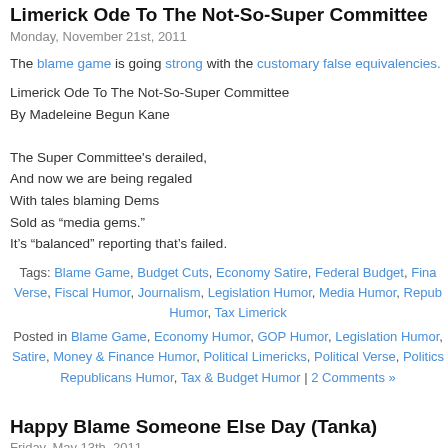Limerick Ode To The Not-So-Super Committee
Monday, November 21st, 2011
The blame game is going strong with the customary false equivalencies.
Limerick Ode To The Not-So-Super Committee
By Madeleine Begun Kane

The Super Committee's derailed,
And now we are being regaled
With tales blaming Dems
Sold as “media gems.”
It’s “balanced” reporting that’s failed.
Tags: Blame Game, Budget Cuts, Economy Satire, Federal Budget, Fina... Verse, Fiscal Humor, Journalism, Legislation Humor, Media Humor, Repub... Humor, Tax Limerick
Posted in Blame Game, Economy Humor, GOP Humor, Legislation Humor, ... Satire, Money & Finance Humor, Political Limericks, Political Verse, Politics ... Republicans Humor, Tax & Budget Humor | 2 Comments »
Happy Blame Someone Else Day (Tanka)
Friday, May 13th, 2011
Today, May 13th, is the first Friday the 13th of 2011, which makes it ... Someone Else Day. I thought I'd celebrate it with a tanka (a haiku plus tw... seven-syllable lines).